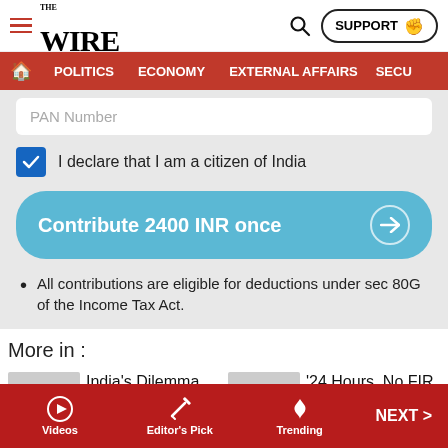THE WIRE — SUPPORT
POLITICS  ECONOMY  EXTERNAL AFFAIRS  SECU…
PAN Number
I declare that I am a citizen of India
Contribute 2400 INR once →
All contributions are eligible for deductions under sec 80G of the Income Tax Act.
More in :
India's Dilemma on Sri Lanka Is…
'24 Hours, No FIR, No Raid': How a…
Videos  Editor's Pick  Trending  NEXT >